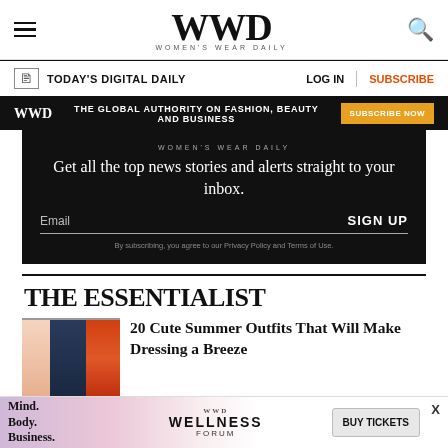WWD — Women's Wear Daily
TODAY'S DIGITAL DAILY   LOG IN   SUBSCRIBE
[Figure (other): WWD black promo bar: THE GLOBAL AUTHORITY ON FASHION, BEAUTY AND BUSINESS — SUBSCRIBE NOW]
[Figure (other): Newsletter signup box with headline: Get all the top news stories and alerts straight to your inbox. Email field and SIGN UP button. Fine print: By subscribing, you agree to our Privacy Policy and Terms of Use.]
THE ESSENTIALIST
[Figure (photo): Three fashion images side by side: beige strappy heels, dark floral dress, orange strappy sandals]
20 Cute Summer Outfits That Will Make Dressing a Breeze
[Figure (other): Bottom advertisement: Mind. Body. Business. — WWD WELLNESS FORUM — BUY TICKETS]